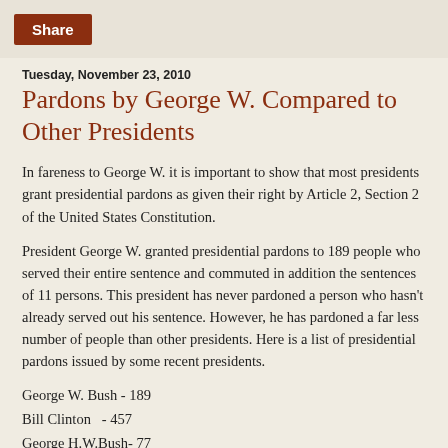Share
Tuesday, November 23, 2010
Pardons by George W. Compared to Other Presidents
In fareness to George W. it is important to show that most presidents grant presidential pardons as given their right by Article 2, Section 2 of the United States Constitution.
President George W. granted presidential pardons to 189 people who served their entire sentence and commuted in addition the sentences of 11 persons. This president has never pardoned a person who hasn't already served out his sentence. However, he has pardoned a far less number of people than other presidents. Here is a list of presidential pardons issued by some recent presidents.
George W. Bush - 189
Bill Clinton   - 457
George H.W.Bush- 77
Ronald Reagan- 406